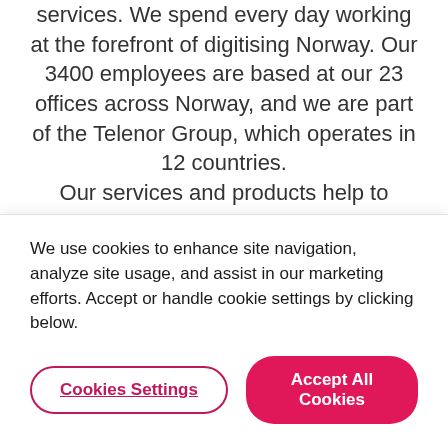services. We spend every day working at the forefront of digitising Norway. Our 3400 employees are based at our 23 offices across Norway, and we are part of the Telenor Group, which operates in 12 countries. Our services and products help to improve productivity and provide access to all digital content. Our security and preparedness organisation works around the clock to keep our customers safe, and we
We use cookies to enhance site navigation, analyze site usage, and assist in our marketing efforts. Accept or handle cookie settings by clicking below.
Cookies Settings
Accept All Cookies